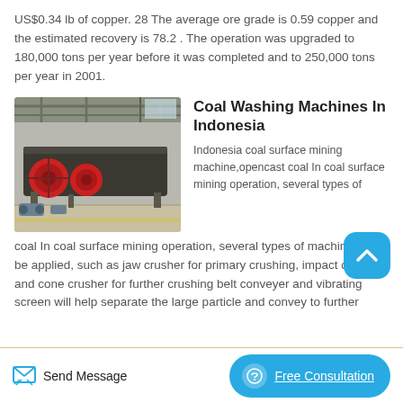US$0.34 lb of copper. 28 The average ore grade is 0.59 copper and the estimated recovery is 78.2 . The operation was upgraded to 180,000 tons per year before it was completed and to 250,000 tons per year in 2001.
[Figure (photo): Industrial coal washing machines in a factory setting, showing large cylindrical drums and mechanical equipment on a factory floor.]
Coal Washing Machines In Indonesia
Indonesia coal surface mining machine,opencast coal In coal surface mining operation, several types of machines will be applied, such as jaw crusher for primary crushing, impact crusher and cone crusher for further crushing belt conveyer and vibrating screen will help separate the large particle and convey to further